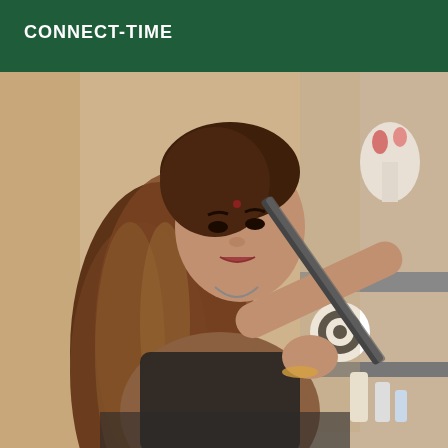CONNECT-TIME
[Figure (photo): A woman with long brown hair holding a curling iron or hair styling tool, photographed indoors in what appears to be a bathroom or vanity area. She is wearing a dark top and looking at the camera.]